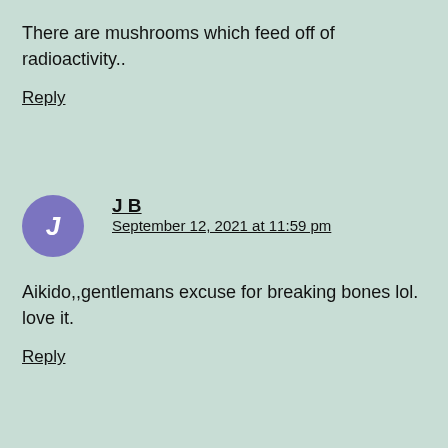There are mushrooms which feed off of radioactivity..
Reply
J B
September 12, 2021 at 11:59 pm
Aikido,,gentlemans excuse for breaking bones lol. love it.
Reply